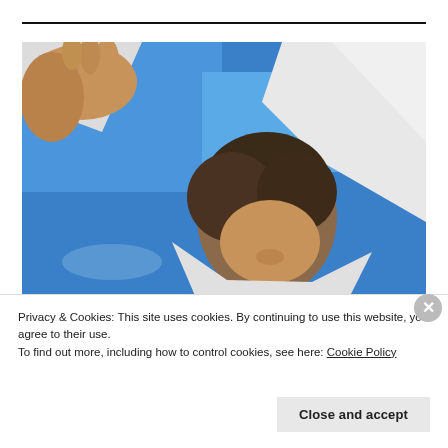[Figure (photo): Upward angle photograph of a person with brown hair wearing a white top, seen from below against a bright blue sky with white clouds. The person's hands are visible at the top left.]
Privacy & Cookies: This site uses cookies. By continuing to use this website, you agree to their use.
To find out more, including how to control cookies, see here: Cookie Policy
Close and accept